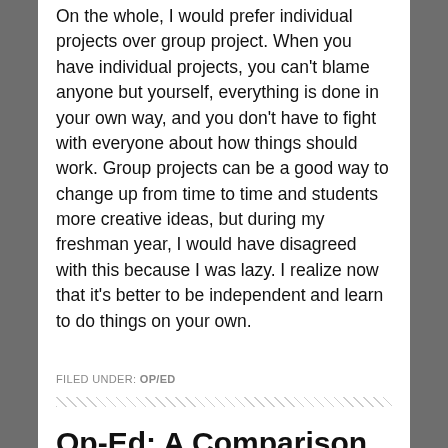On the whole, I would prefer individual projects over group project. When you have individual projects, you can't blame anyone but yourself, everything is done in your own way, and you don't have to fight with everyone about how things should work. Group projects can be a good way to change up from time to time and students more creative ideas, but during my freshman year, I would have disagreed with this because I was lazy. I realize now that it's better to be independent and learn to do things on your own.
FILED UNDER: OP/ED
Op-Ed: A Comparison Between Philadelphia's